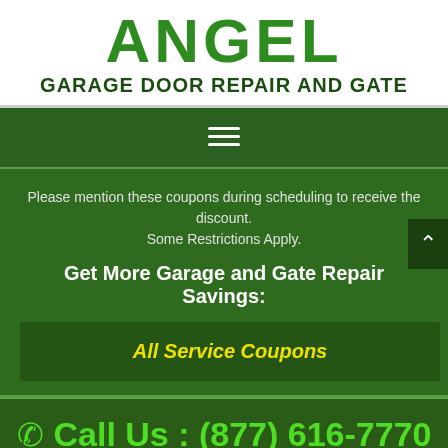ANGEL GARAGE DOOR REPAIR AND GATE
[Figure (other): Hamburger menu icon (three horizontal white lines) on dark green navigation bar]
Please mention these coupons during scheduling to receive the discount.
Some Restrictions Apply.
Get More Garage and Gate Repair Savings:
All Service Coupons
Call Us : (877) 616-7770
Toll-Free – Scheduling is OPEN – Call NOW!